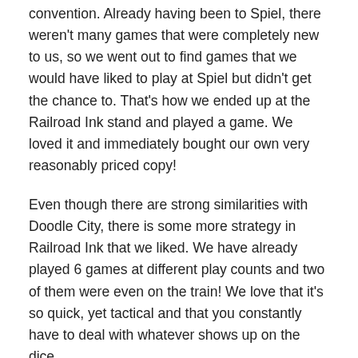convention. Already having been to Spiel, there weren't many games that were completely new to us, so we went out to find games that we would have liked to play at Spiel but didn't get the chance to. That's how we ended up at the Railroad Ink stand and played a game. We loved it and immediately bought our own very reasonably priced copy!
Even though there are strong similarities with Doodle City, there is some more strategy in Railroad Ink that we liked. We have already played 6 games at different play counts and two of them were even on the train! We love that it's so quick, yet tactical and that you constantly have to deal with whatever shows up on the dice.
Root
Okay yes, we know we are a little late on this hype but